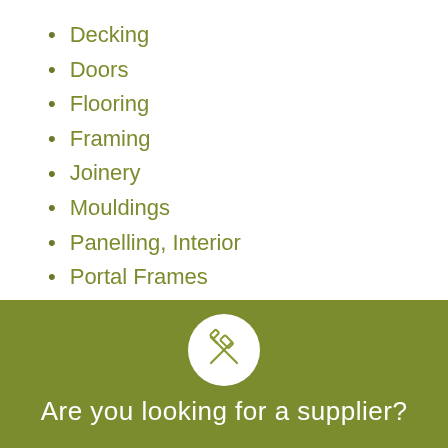Decking
Doors
Flooring
Framing
Joinery
Mouldings
Panelling, Interior
Portal Frames
Stairs, Interior
Structural Timber Poles
[Figure (illustration): White circle with crossed tools (hammer and screwdriver) icon in olive/khaki outline on olive green background]
Are you looking for a supplier?